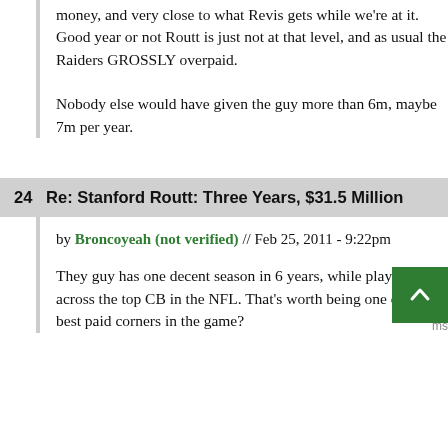money, and very close to what Revis gets while we're at it. Good year or not Routt is just not at that level, and as usual the Raiders GROSSLY overpaid.
Nobody else would have given the guy more than 6m, maybe 7m per year.
24   Re: Stanford Routt: Three Years, $31.5 Million
by Broncoyeah (not verified) // Feb 25, 2011 - 9:22pm
They guy has one decent season in 6 years, while playing across the top CB in the NFL. That's worth being one of the best paid corners in the game?